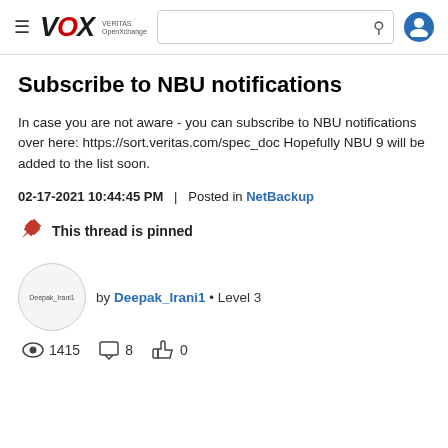VOX VERITAS OpenXchange — navigation header with search and user icon
Subscribe to NBU notifications
In case you are not aware - you can subscribe to NBU notifications over here: https://sort.veritas.com/spec_doc Hopefully NBU 9 will be added to the list soon.
02-17-2021 10:44:45 PM  |  Posted in NetBackup
This thread is pinned
by Deepak_Irani1 • Level 3
1415 views  8 comments  0 likes